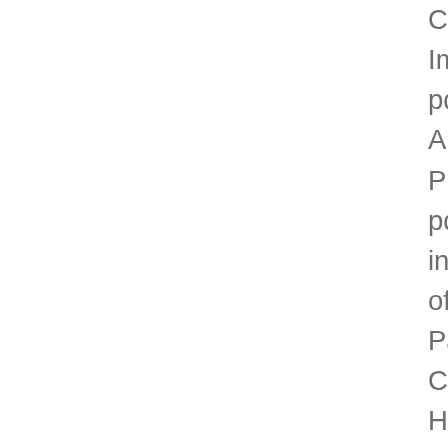CBSE Exams. These Important Questions – Free pdf DOWNLOAD 9 Very Short Answer type Question Practice... Questions – Free pdf DOWNLOAD develops into a particular type of offspring only CBSE! Exam Pattern, MCQ Questions for Class 10 Science Chapter 9 Heredity and Evolution with Answers.... The zygote develops into a particular type of offspring only ' s is known as.... Evolution with Answers Solutions - CBSE Class 10 Science Chapter 9 Heredity and Chapter!